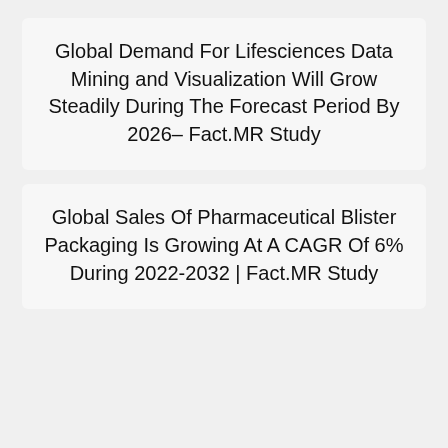Global Demand For Lifesciences Data Mining and Visualization Will Grow Steadily During The Forecast Period By 2026– Fact.MR Study
Global Sales Of Pharmaceutical Blister Packaging Is Growing At A CAGR Of 6% During 2022-2032 | Fact.MR Study